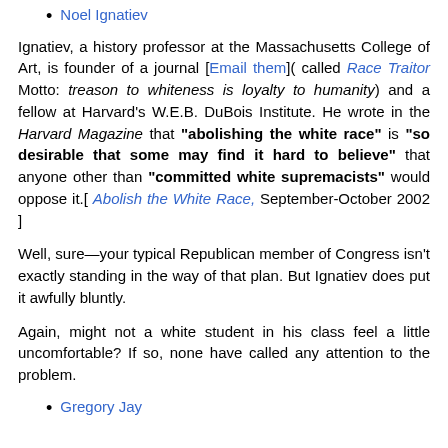Noel Ignatiev
Ignatiev, a history professor at the Massachusetts College of Art, is founder of a journal [Email them]( called Race Traitor Motto: treason to whiteness is loyalty to humanity) and a fellow at Harvard's W.E.B. DuBois Institute. He wrote in the Harvard Magazine that "abolishing the white race" is "so desirable that some may find it hard to believe" that anyone other than "committed white supremacists" would oppose it.[ Abolish the White Race, September-October 2002 ]
Well, sure—your typical Republican member of Congress isn't exactly standing in the way of that plan. But Ignatiev does put it awfully bluntly.
Again, might not a white student in his class feel a little uncomfortable? If so, none have called any attention to the problem.
Gregory Jay